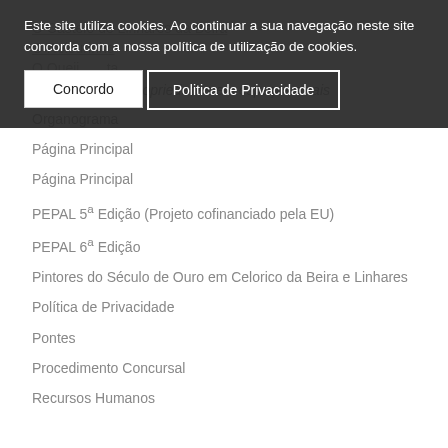O Castelo de Linhares da Beira
O Relourinho
O Queij... ...ta
OBRIGA... das propriedades em espaços rurais
Organograma
Página Principal
Página Principal
PEPAL 5ª Edição (Projeto cofinanciado pela EU)
PEPAL 6ª Edição
Pintores do Século de Ouro em Celorico da Beira e Linhares
Política de Privacidade
Pontes
Procedimento Concursal
Recursos Humanos
Este site utiliza cookies. Ao continuar a sua navegação neste site concorda com a nossa política de utilização de cookies.
Concordo
Politica de Privacidade